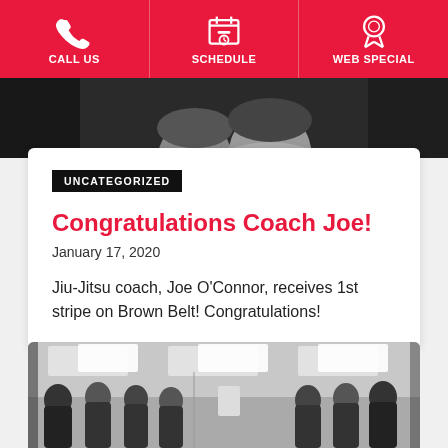CALL US | SCHEDULE | WEB SPECIAL
[Figure (photo): Partial photo of two men smiling, dark background, black and white tones]
UNCATEGORIZED
Congratulations Coach Joe!
January 17, 2020
Jiu-Jitsu coach, Joe O'Connor, receives 1st stripe on Brown Belt! Congratulations!
[Figure (photo): Black and white photo of a martial arts class with students standing in a gym]